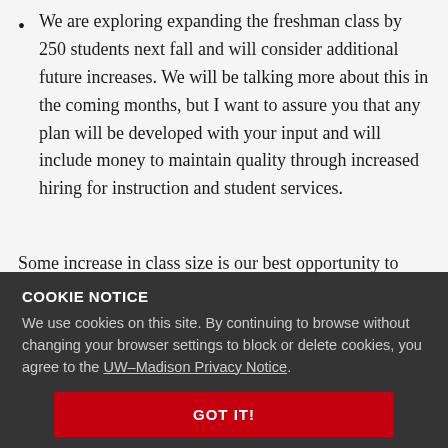We are exploring expanding the freshman class by 250 students next fall and will consider additional future increases. We will be talking more about this in the coming months, but I want to assure you that any plan will be developed with your input and will include money to maintain quality through increased hiring for instruction and student services.
Some increase in class size is our best opportunity to
COOKIE NOTICE
We use cookies on this site. By continuing to browse without changing your browser settings to block or delete cookies, you agree to the UW–Madison Privacy Notice.
GOT IT!